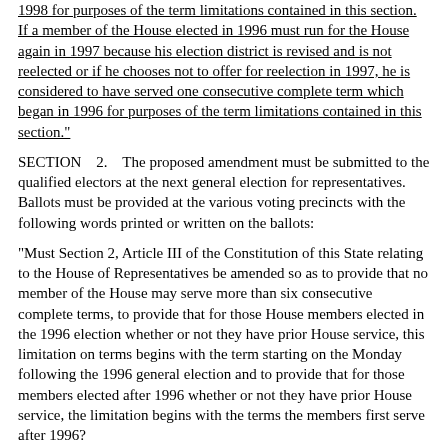1998 for purposes of the term limitations contained in this section. If a member of the House elected in 1996 must run for the House again in 1997 because his election district is revised and is not reelected or if he chooses not to offer for reelection in 1997, he is considered to have served one consecutive complete term which began in 1996 for purposes of the term limitations contained in this section."
SECTION    2.    The proposed amendment must be submitted to the qualified electors at the next general election for representatives. Ballots must be provided at the various voting precincts with the following words printed or written on the ballots:
"Must Section 2, Article III of the Constitution of this State relating to the House of Representatives be amended so as to provide that no member of the House may serve more than six consecutive complete terms, to provide that for those House members elected in the 1996 election whether or not they have prior House service, this limitation on terms begins with the term starting on the Monday following the 1996 general election and to provide that for those members elected after 1996 whether or not they have prior House service, the limitation begins with the terms the members first serve after 1996?
Yes